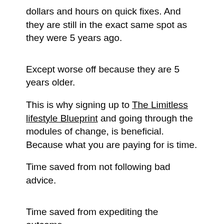dollars and hours on quick fixes. And they are still in the exact same spot as they were 5 years ago.
Except worse off because they are 5 years older.
This is why signing up to The Limitless lifestyle Blueprint and going through the modules of change, is beneficial. Because what you are paying for is time.
Time saved from not following bad advice.
Time saved from expediting the outcome.
Time accrued from stacking years on to your life.